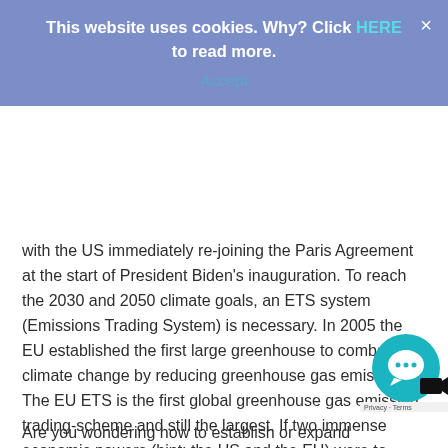This website uses cookies. Why? Click HERE to read more.
Accept
with the US immediately re-joining the Paris Agreement at the start of President Biden’s inauguration. To reach the 2030 and 2050 climate goals, an ETS system (Emissions Trading System) is necessary. In 2005 the EU established the first large greenhouse to combat climate change by reducing greenhouse gas emissions. The EU ETS is the first global greenhouse gas emission trading-scheme and still the largest. If two immense economic powers (hint: the US and the EU) were to share the same system, we can effectively combat global warming, bringing hope to future generations. Another future investment is hydrogen: the EU is busy setting up hydrogen projects. We have not reached our climate goals. However, with the US back in the Paris Agreement, the future seems promising.
Are you wondering how to establish or expand